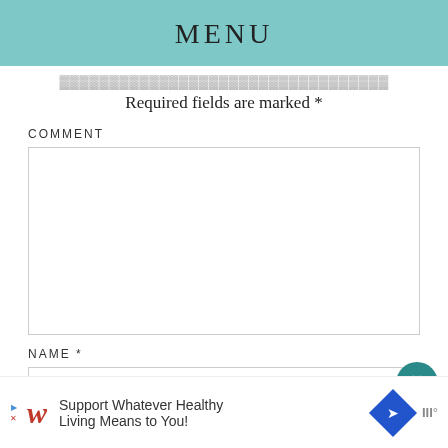MENU
Required fields are marked *
COMMENT
NAME *
[Figure (screenshot): Walgreens advertisement: 'Support Whatever Healthy Living Means to You!']